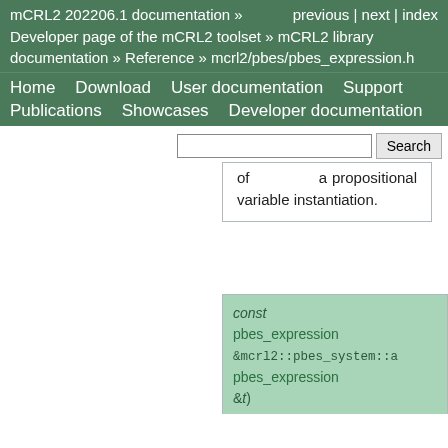mCRL2 202206.1 documentation »    previous | next | index
Developer page of the mCRL2 toolset » mCRL2 library documentation » Reference » mcrl2/pbes/pbes_expression.h
Home   Download   User documentation   Support   Publications   Showcases   Developer documentation
of a propositional variable instantiation.
const pbes_expression &mcrl2::pbes_system::a pbes_expression &t)
Returns the right hand side of an